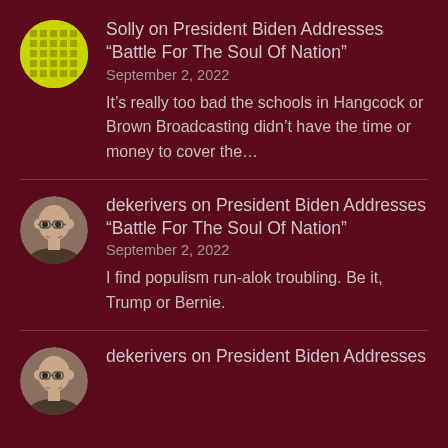Solly on President Biden Addresses “Battle For The Soul Of Nation”
September 2, 2022
It’s really too bad the schools in Hangcock or Brown Broadcasting didn’t have the time or money to cover the…
dekerivers on President Biden Addresses “Battle For The Soul Of Nation”
September 2, 2022
I find populism run-alok troubling. Be it, Trump or Bernie.
dekerivers on President Biden Addresses